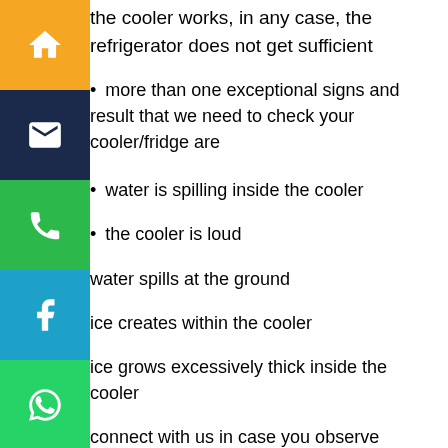the cooler works, in any case, the refrigerator does not get sufficient
• more than one exceptional signs and result that we need to check your cooler/fridge are
• water is spilling inside the cooler
• the cooler is loud
• water spills at the ground
• ice creates within the cooler
• ice grows excessively thick inside the cooler
connect with us in case you observe any of those most important by using and large execution burdens:
such a problem for the cooler is amazing. you can require a